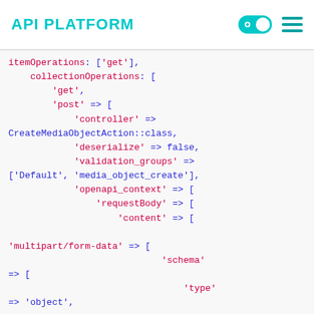API PLATFORM
[Figure (screenshot): PHP code snippet showing API Platform configuration with collectionOperations including get and post with controller CreateMediaObjectAction::class, deserialize false, validation_groups, openapi_context with requestBody content multipart/form-data schema with type object and properties array]